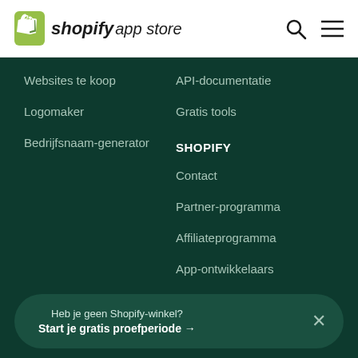shopify app store
Websites te koop
Logomaker
Bedrijfsnaam-generator
API-documentatie
Gratis tools
SHOPIFY
Contact
Partner-programma
Affiliateprogramma
App-ontwikkelaars
Investeerders
Blogonderwerpen
Heb je geen Shopify-winkel? Start je gratis proefperiode →